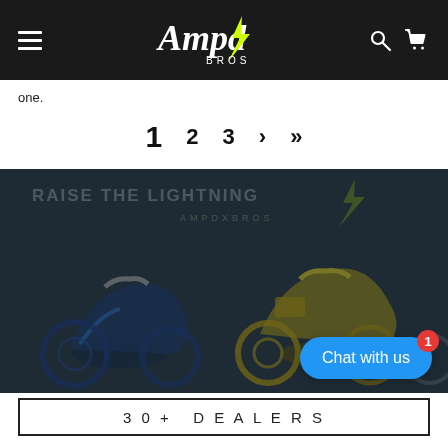Ampd Bros
one.
1  2  3  ›  »
[Figure (photo): Motocross dirt bikes parked indoors with neon sign reading RAISE THE LIGHTNING AMPDXBROS in background. Blue and yellow bikes visible. Dark moody lighting with blue-grey overlay.]
Chat with us
3 0 + DEALERS